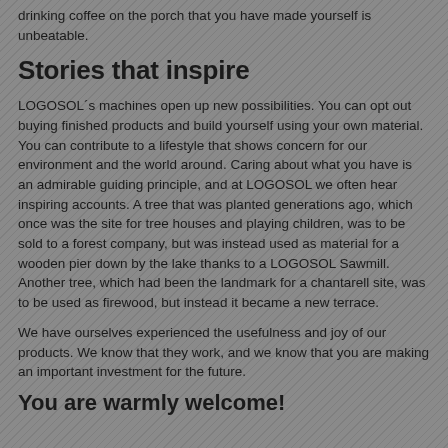drinking coffee on the porch that you have made yourself is unbeatable.
Stories that inspire
LOGOSOL´s machines open up new possibilities. You can opt out buying finished products and build yourself using your own material. You can contribute to a lifestyle that shows concern for our environment and the world around. Caring about what you have is an admirable guiding principle, and at LOGOSOL we often hear inspiring accounts. A tree that was planted generations ago, which once was the site for tree houses and playing children, was to be sold to a forest company, but was instead used as material for a wooden pier down by the lake thanks to a LOGOSOL Sawmill. Another tree, which had been the landmark for a chantarell site, was to be used as firewood, but instead it became a new terrace.
We have ourselves experienced the usefulness and joy of our products. We know that they work, and we know that you are making an important investment for the future.
You are warmly welcome!